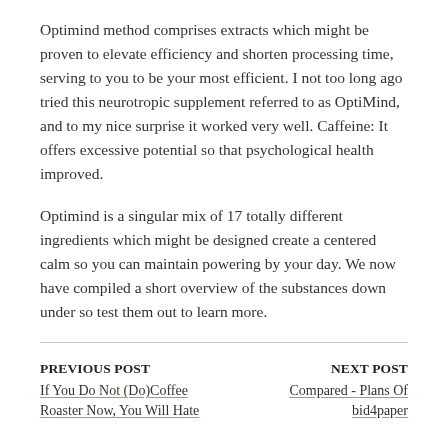Optimind method comprises extracts which might be proven to elevate efficiency and shorten processing time, serving to you to be your most efficient. I not too long ago tried this neurotropic supplement referred to as OptiMind, and to my nice surprise it worked very well. Caffeine: It offers excessive potential so that psychological health improved.
Optimind is a singular mix of 17 totally different ingredients which might be designed create a centered calm so you can maintain powering by your day. We now have compiled a short overview of the substances down under so test them out to learn more.
PREVIOUS POST
If You Do Not (Do)Coffee Roaster Now, You Will Hate
NEXT POST
Compared - Plans Of bid4paper